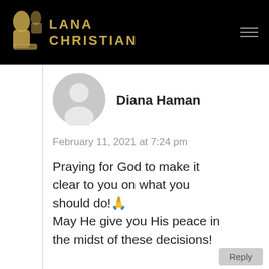LANA CHRISTIAN
[Figure (photo): Default user avatar icon (grey circle with person silhouette)]
Diana Haman
February 11, 2021 at 7:24 pm
Praying for God to make it clear to you on what you should do!🙏
May He give you His peace in the midst of these decisions!